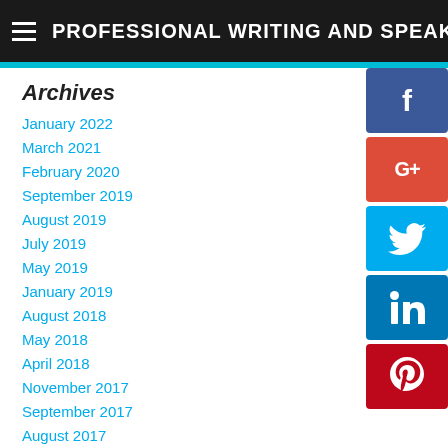PROFESSIONAL WRITING AND SPEAKING
Archives
January 2022
March 2021
February 2020
September 2019
August 2019
July 2019
May 2019
January 2019
August 2018
May 2018
April 2018
November 2017
September 2017
August 2017
February 2017
[Figure (infographic): Social media share buttons: Facebook (blue), Google+ (red), Twitter (cyan), LinkedIn (blue), Pinterest (red)]